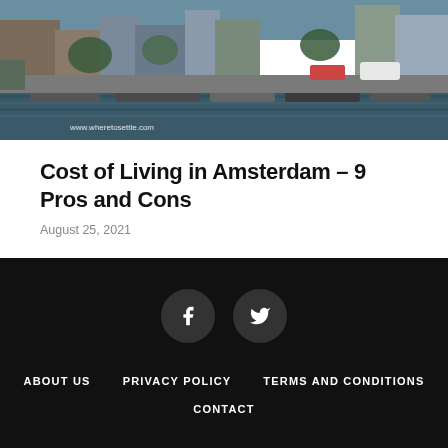[Figure (photo): Photograph of Amsterdam canal with boats moored along the waterway, bicycles visible, cars on the street, buildings in the background. Watermark: www.wheretosettle.com]
Cost of Living in Amsterdam – 9 Pros and Cons
August 25, 2021
ABOUT US   PRIVACY POLICY   TERMS AND CONDITIONS   CONTACT